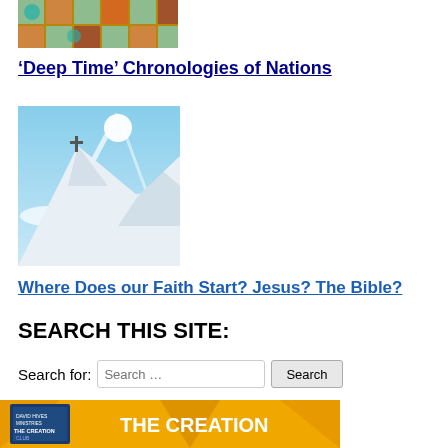[Figure (photo): Mosaic or tile artwork image at top of page]
'Deep Time' Chronologies of Nations
[Figure (photo): Snow-covered mountain peak with cross at summit under bright sun]
Where Does our Faith Start? Jesus? The Bible?
SEARCH THIS SITE:
Search for:
[Figure (photo): The Creation Club book/resource by David Hives Ministries with yellow background]